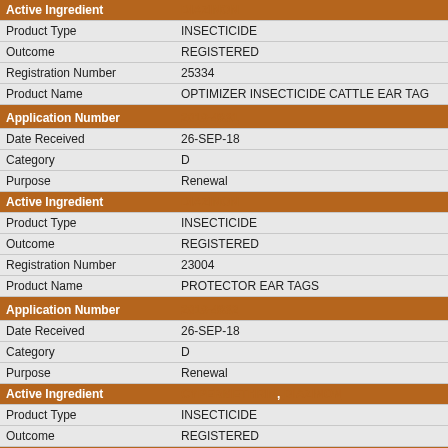| Field | Value |
| --- | --- |
| Active Ingredient | DIAZINON |
| Product Type | INSECTICIDE |
| Outcome | REGISTERED |
| Registration Number | 25334 |
| Product Name | OPTIMIZER INSECTICIDE CATTLE EAR TAG |
| Application Number | 2018-4831 |
| Date Received | 26-SEP-18 |
| Category | D |
| Purpose | Renewal |
| Active Ingredient | DIAZINON |
| Product Type | INSECTICIDE |
| Outcome | REGISTERED |
| Registration Number | 23004 |
| Product Name | PROTECTOR EAR TAGS |
| Application Number | 2018-4832 |
| Date Received | 26-SEP-18 |
| Category | D |
| Purpose | Renewal |
| Active Ingredient | CYPERMETHRIN, DIAZINON |
| Product Type | INSECTICIDE |
| Outcome | REGISTERED |
| Registration Number | 24438 |